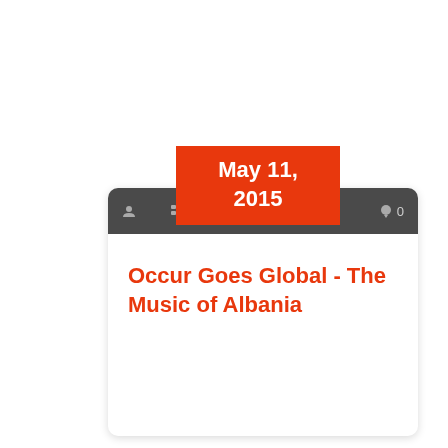May 11, 2015
MUSIC
0
Occur Goes Global - The Music of Albania